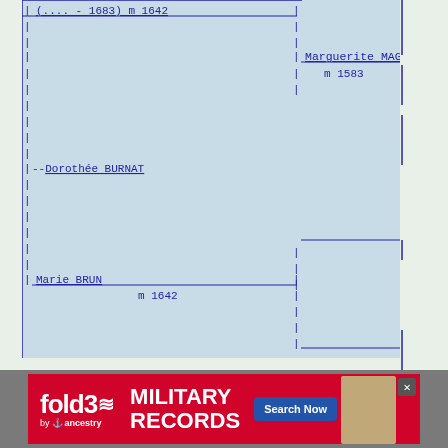[Figure (other): Genealogy family tree diagram showing ancestors: (.... - 1683) m 1642, Marguerite MAGNIN m 1583, --Dorothée BURNAT, Marie BRUN m 1642, with connecting lines]
[Figure (other): Advertisement banner for Fold3 Military Records by Ancestry with Search Now button]